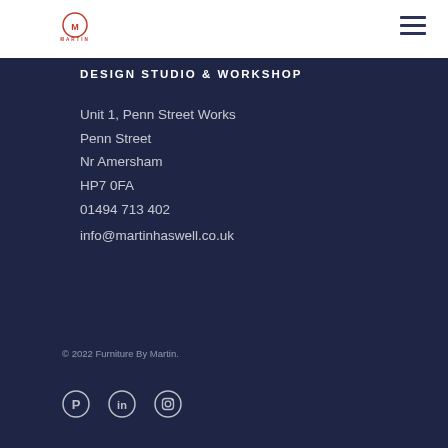[Figure (logo): Martin Haswell circular logo with M monogram in orange/red and MARTIN text below]
DESIGN STUDIO & WORKSHOP
Unit 1, Penn Street Works
Penn Street
Nr Amersham
HP7 0FA
01494 713 402
info@martinhaswell.co.uk
© 2022 Furniture By Martin.
[Figure (infographic): Pinterest, LinkedIn, and Instagram social media icons in white outline style]